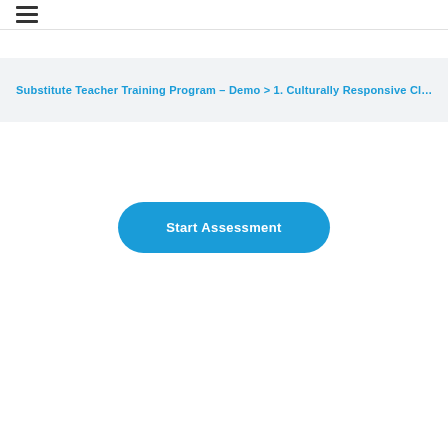☰
Substitute Teacher Training Program – Demo > 1. Culturally Responsive Classr…
Start Assessment